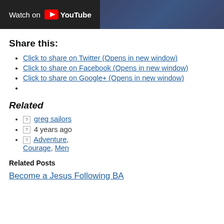[Figure (screenshot): YouTube 'Watch on YouTube' banner with dark background]
Share this:
Click to share on Twitter (Opens in new window)
Click to share on Facebook (Opens in new window)
Click to share on Google+ (Opens in new window)
Related
🖼 greg sailors
🖼 4 years ago
🖼 Adventure, Courage, Men
Related Posts
Become a Jesus Following BA